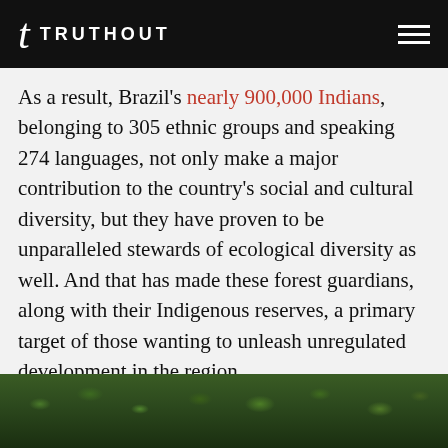TRUTHOUT
As a result, Brazil's nearly 900,000 Indians, belonging to 305 ethnic groups and speaking 274 languages, not only make a major contribution to the country's social and cultural diversity, but they have proven to be unparalleled stewards of ecological diversity as well. And that has made these forest guardians, along with their Indigenous reserves, a primary target of those wanting to unleash unregulated development in the region.
[Figure (photo): Photo of forest vegetation, green leaves and branches visible, dark background suggesting dense jungle or rainforest environment]